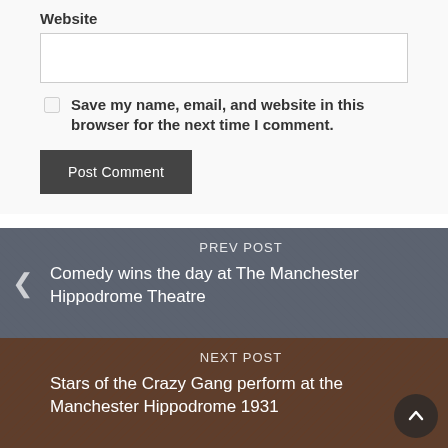Website
Save my name, email, and website in this browser for the next time I comment.
Post Comment
PREV POST
Comedy wins the day at The Manchester Hippodrome Theatre
NEXT POST
Stars of the Crazy Gang perform at the Manchester Hippodrome 1931